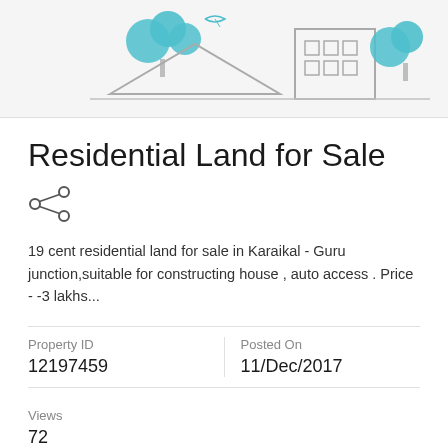[Figure (illustration): Illustration showing a residential scene with teal/blue trees, a house outline, and a building with windows on a light gray background]
Residential Land for Sale
[Figure (other): Share icon (social sharing symbol)]
19 cent residential land for sale in Karaikal - Guru junction,suitable for constructing house , auto access . Price - -3 lakhs...
| Property ID | Posted On |
| --- | --- |
| 12197459 | 11/Dec/2017 |
Views
72
₹ 55 Lac - 60 Lac Require a loan?